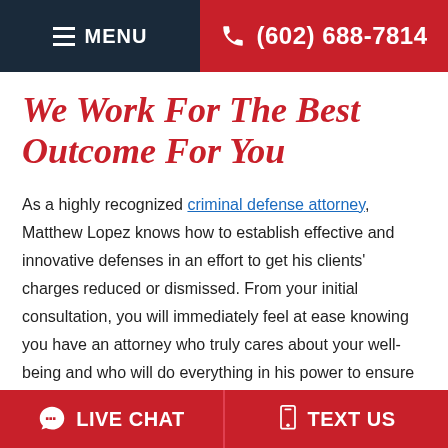MENU  (602) 688-7814
We Work For The Best Outcome For You
As a highly recognized criminal defense attorney, Matthew Lopez knows how to establish effective and innovative defenses in an effort to get his clients' charges reduced or dismissed. From your initial consultation, you will immediately feel at ease knowing you have an attorney who truly cares about your well-being and who will do everything in his power to ensure you receive the best possible outcome for your case. We listen closely to your side of the story to understand what happened and the best
LIVE CHAT   TEXT US